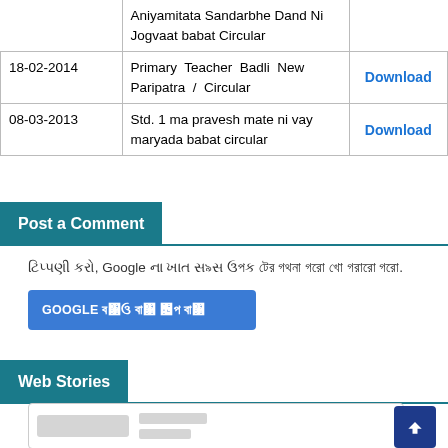| Date | Description | Link |
| --- | --- | --- |
|  | Aniyamitata Sandarbhe Dand Ni Jogvaat babat Circular |  |
| 18-02-2014 | Primary Teacher Badli New Paripatra / Circular | Download |
| 08-03-2013 | Std. 1 ma pravesh mate ni vay maryada babat circular | Download |
Post a Comment
ટિપ્પણી કરો. Google ના ખાત સસ ઉપ ટથ ઉ ટ@ઓ.
GOOGLE સ@ઓ ઉ@ઓ ઉ ઉ@ઓ
Web Stories